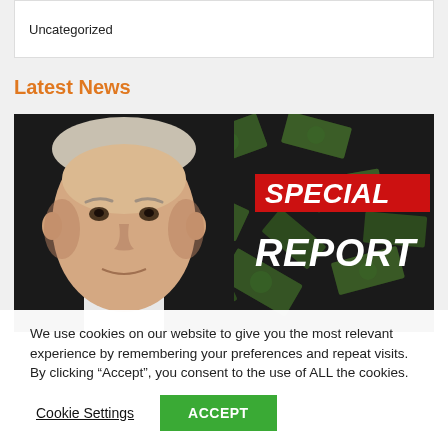Uncategorized
Latest News
[Figure (illustration): A news banner image showing a person's face on the left against a black background with scattered dollar bills, and text on the right reading 'SPECIAL REPORT' in white italic bold font on a red background.]
We use cookies on our website to give you the most relevant experience by remembering your preferences and repeat visits. By clicking “Accept”, you consent to the use of ALL the cookies.
Cookie Settings   ACCEPT